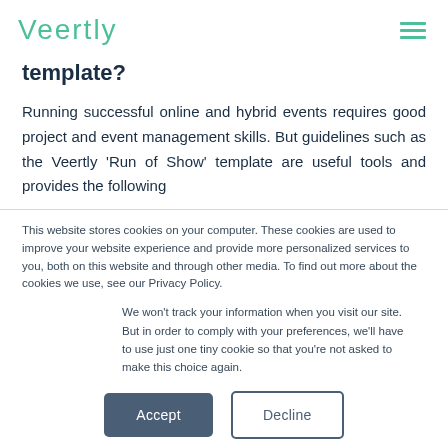Veertly
template?
Running successful online and hybrid events requires good project and event management skills. But guidelines such as the Veertly 'Run of Show' template are useful tools and provides the following
This website stores cookies on your computer. These cookies are used to improve your website experience and provide more personalized services to you, both on this website and through other media. To find out more about the cookies we use, see our Privacy Policy.
We won't track your information when you visit our site. But in order to comply with your preferences, we'll have to use just one tiny cookie so that you're not asked to make this choice again.
Accept | Decline